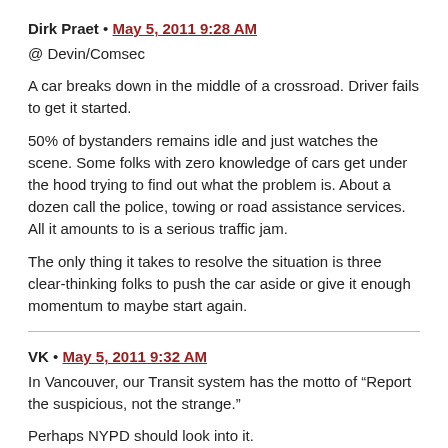Dirk Praet • May 5, 2011 9:28 AM
@ Devin/Comsec
A car breaks down in the middle of a crossroad. Driver fails to get it started.
50% of bystanders remains idle and just watches the scene. Some folks with zero knowledge of cars get under the hood trying to find out what the problem is. About a dozen call the police, towing or road assistance services. All it amounts to is a serious traffic jam.
The only thing it takes to resolve the situation is three clear-thinking folks to push the car aside or give it enough momentum to maybe start again.
VK • May 5, 2011 9:32 AM
In Vancouver, our Transit system has the motto of “Report the suspicious, not the strange.”
Perhaps NYPD should look into it.